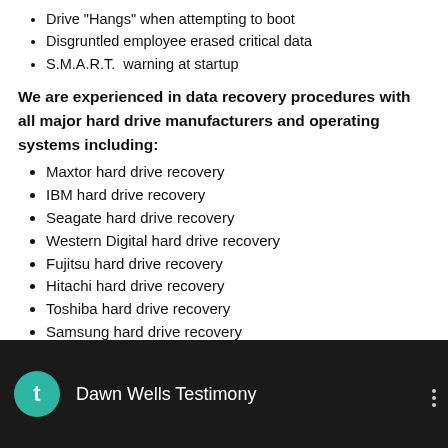Drive "Hangs" when attempting to boot
Disgruntled employee erased critical data
S.M.A.R.T.  warning at startup
We are experienced in data recovery procedures with all major hard drive manufacturers and operating systems including:
Maxtor hard drive recovery
IBM hard drive recovery
Seagate hard drive recovery
Western Digital hard drive recovery
Fujitsu hard drive recovery
Hitachi hard drive recovery
Toshiba hard drive recovery
Samsung hard drive recovery
Mac OS data recovery
Unix data recovery
Windows data recovery
Linux data recovery
[Figure (screenshot): Video thumbnail showing 'Dawn Wells Testimony' with teal avatar icon with letter t and three-dot menu icon on dark background]